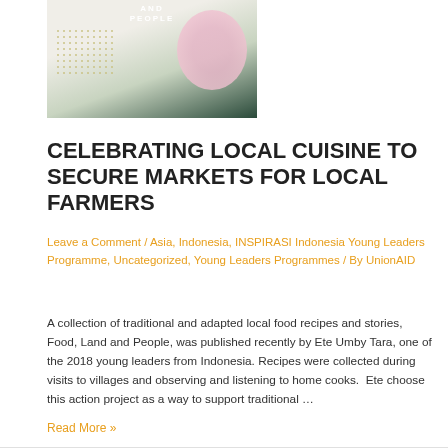[Figure (photo): Book cover image with text 'AND PEOPLE' visible, showing decorative elements including flowers and seeds/dots on a dark green background]
CELEBRATING LOCAL CUISINE TO SECURE MARKETS FOR LOCAL FARMERS
Leave a Comment / Asia, Indonesia, INSPIRASI Indonesia Young Leaders Programme, Uncategorized, Young Leaders Programmes / By UnionAID
A collection of traditional and adapted local food recipes and stories, Food, Land and People, was published recently by Ete Umby Tara, one of the 2018 young leaders from Indonesia. Recipes were collected during visits to villages and observing and listening to home cooks.  Ete choose this action project as a way to support traditional …
Read More »